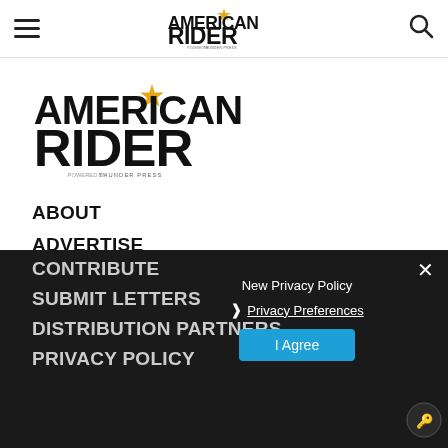[Figure (logo): Hamburger menu icon (three horizontal lines) in top left nav bar]
[Figure (logo): American Rider logo powered by Thunder Press in top center nav bar]
[Figure (logo): Search icon (magnifying glass) in top right nav bar]
[Figure (logo): Large American Rider logo with star, powered by Thunder Press]
ABOUT
ADVERTISE
CONTACT
CONTRIBUTE
SUBMIT LETTERS
DISTRIBUTION PARTNERS
PRIVACY POLICY
New Privacy Policy
❯ Privacy Preferences
I Agree